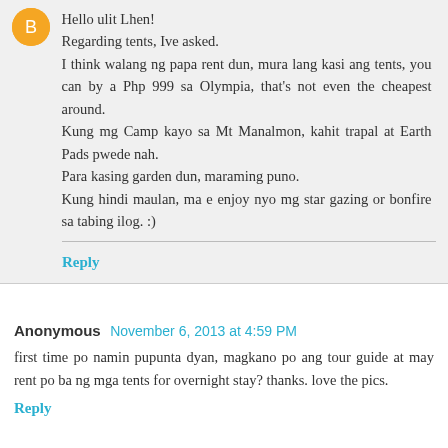Hello ulit Lhen! Regarding tents, Ive asked. I think walang ng papa rent dun, mura lang kasi ang tents, you can by a Php 999 sa Olympia, that's not even the cheapest around. Kung mg Camp kayo sa Mt Manalmon, kahit trapal at Earth Pads pwede nah. Para kasing garden dun, maraming puno. Kung hindi maulan, ma e enjoy nyo mg star gazing or bonfire sa tabing ilog. :)
Reply
Anonymous November 6, 2013 at 4:59 PM
first time po namin pupunta dyan, magkano po ang tour guide at may rent po ba ng mga tents for overnight stay? thanks. love the pics.
Reply